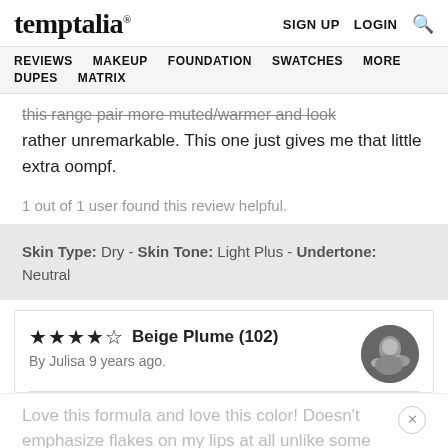temptalia® — SIGN UP  LOGIN  🔍
REVIEWS  MAKEUP  FOUNDATION  SWATCHES  MORE  DUPES  MATRIX
this range pair more muted/warmer and look rather unremarkable. This one just gives me that little extra oompf.
1 out of 1 user found this review helpful.
Skin Type: Dry - Skin Tone: Light Plus - Undertone: Neutral
★★★★½ Beige Plume (102)
By Julisa 9 years ago.
Love this formula and love this color! Doesn't emphasize flakes on my lips at all unlike some